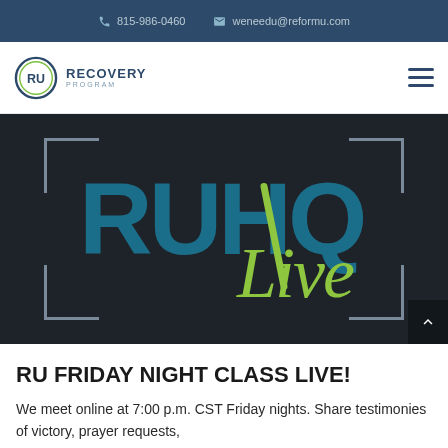815-986-0460   weneedu@reformu.com
[Figure (logo): RU Recovery Program logo with circle icon containing 'RU' text]
[Figure (logo): RUHQ Live logo in teal and lime green on dark background with corner bracket decorations]
RU FRIDAY NIGHT CLASS LIVE!
We meet online at 7:00 p.m. CST Friday nights. Share testimonies of victory, prayer requests,